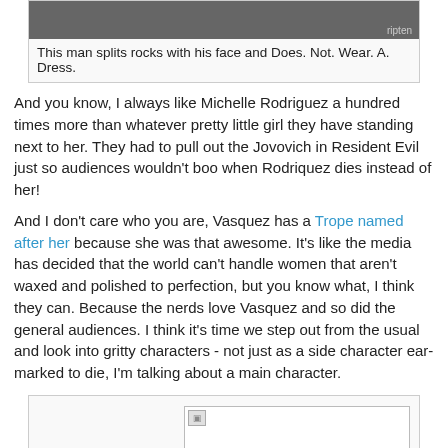[Figure (photo): Dark action movie screenshot with 'ripten' watermark in lower right]
This man splits rocks with his face and Does. Not. Wear. A. Dress.
And you know, I always like Michelle Rodriguez a hundred times more than whatever pretty little girl they have standing next to her.  They had to pull out the Jovovich in Resident Evil just so audiences wouldn't boo when Rodriquez dies instead of her!
And I don't care who you are, Vasquez has a Trope named after her because she was that awesome.  It's like the media has decided that the world can't handle women that aren't waxed and polished to perfection, but you know what, I think they can.  Because the nerds love Vasquez and so did the general audiences.  I think it's time we step out from the usual and look into gritty characters - not just as a side character ear-marked to die, I'm talking about a main character.
[Figure (photo): Broken/missing image placeholder in a bordered box]